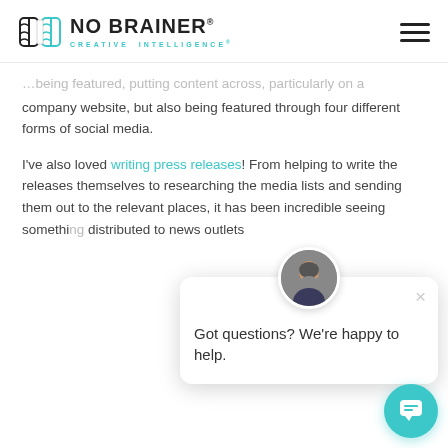NO BRAINER CREATIVE INTELLIGENCE
company website, but also being featured through four different forms of social media.
I've also loved writing press releases! From helping to write the releases themselves to researching the media lists and sending them out to the relevant places, it has been incredible seeing something distributed to news outlets
[Figure (screenshot): Chat popup widget with avatar of a man, close button (x), and text 'Got questions? We're happy to help.' with a teal chat button in the bottom right corner.]